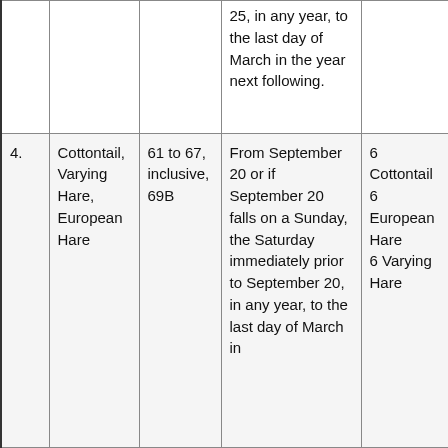|  |  |  |  |  |  |
| --- | --- | --- | --- | --- | --- |
|  |  |  | 25, in any year, to the last day of March in the year next following. |  |  |
| 4. | Cottontail, Varying Hare, European Hare | 61 to 67, inclusive, 69B | From September 20 or if September 20 falls on a Sunday, the Saturday immediately prior to September 20, in any year, to the last day of March in | 6 Cottontail
6 European Hare
6 Varying Hare |  |